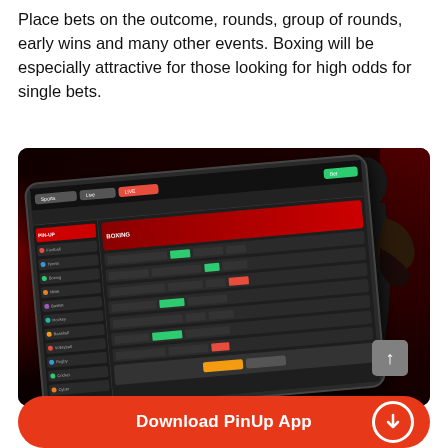Place bets on the outcome, rounds, group of rounds, early wins and many other events. Boxing will be especially attractive for those looking for high odds for single bets.
[Figure (screenshot): A tablet/laptop showing the PinUp sports betting interface with boxing betting markets, overlaid with a silhouette of a boxer. Dark background with red swoosh decorations. A grey scroll-to-top button visible in bottom right of image.]
Download PinUp App